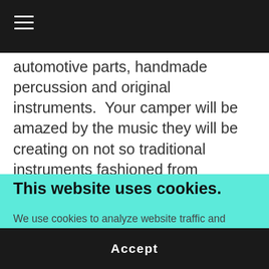≡
automotive parts, handmade percussion and original instruments.  Your camper will be amazed by the music they will be creating on not so traditional instruments fashioned from
This website uses cookies.
We use cookies to analyze website traffic and optimize your website experience. By accepting our use of cookies, your data will be aggregated with all other user data.
Accept